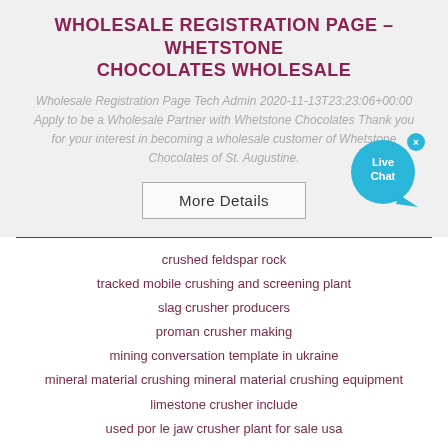WHOLESALE REGISTRATION PAGE – WHETSTONE CHOCOLATES WHOLESALE
Wholesale Registration Page Tech Admin 2020-11-13T23:23:06+00:00 Apply to be a Wholesale Partner with Whetstone Chocolates Thank you for your interest in becoming a wholesale customer of Whetstone Chocolates of St. Augustine.
[Figure (illustration): Live Chat bubble icon in cyan/teal color with close X button]
More Details
crushed feldspar rock
tracked mobile crushing and screening plant
slag crusher producers
proman crusher making
mining conversation template in ukraine
mineral material crushing mineral material crushing equipment
limestone crusher include
used por le jaw crusher plant for sale usa